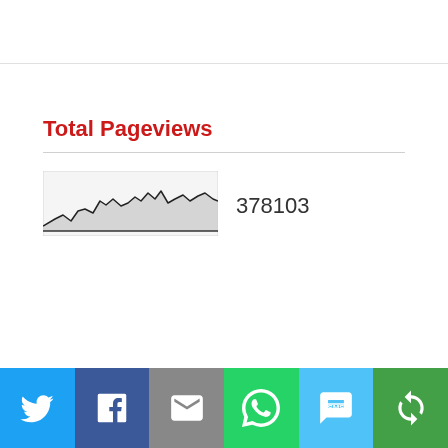Total Pageviews
[Figure (continuous-plot): Small sparkline/area chart showing pageview trend over time with jagged line and grey shaded area beneath]
378103
[Figure (infographic): Social share bar with 6 buttons: Twitter (blue), Facebook (dark blue), Email (grey), WhatsApp (green), SMS (light blue), Copy link (green)]